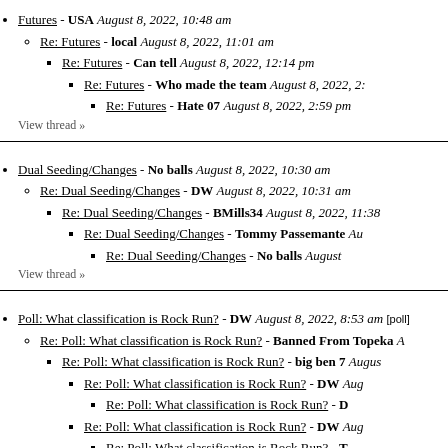Futures - USA August 8, 2022, 10:48 am
Re: Futures - local August 8, 2022, 11:01 am
Re: Futures - Can tell August 8, 2022, 12:14 pm
Re: Futures - Who made the team August 8, 2022, 2:...
Re: Futures - Hate 07 August 8, 2022, 2:59 pm
View thread »
Dual Seeding/Changes - No balls August 8, 2022, 10:30 am
Re: Dual Seeding/Changes - DW August 8, 2022, 10:31 am
Re: Dual Seeding/Changes - BMills34 August 8, 2022, 11:38
Re: Dual Seeding/Changes - Tommy Passemante Aug...
Re: Dual Seeding/Changes - No balls August ...
View thread »
Poll: What classification is Rock Run? - DW August 8, 2022, 8:53 am [poll]
Re: Poll: What classification is Rock Run? - Banned From Topeka A...
Re: Poll: What classification is Rock Run? - big ben 7 Augus...
Re: Poll: What classification is Rock Run? - DW Aug...
Re: Poll: What classification is Rock Run? - D...
Re: Poll: What classification is Rock Run? - DW Aug...
Re: Poll: What classification is Rock Run? - T...
Re: Poll: What classification is Rock Run? - player August 8,...
Re: Poll: What classification is Rock Run? - Bellamy August...